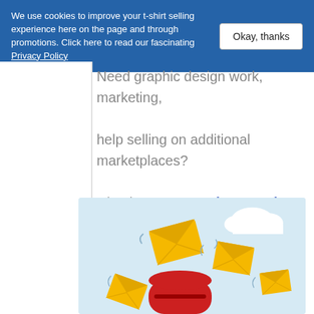We use cookies to improve your t-shirt selling experience here on the page and through promotions. Click here to read our fascinating Privacy Policy
Okay, thanks
Need graphic design work, marketing, help selling on additional marketplaces? Check out our Products and Services (discounted for Premium Members).
[Figure (illustration): Illustration of flying yellow envelopes and a red mailbox on a light blue background with a white cloud]